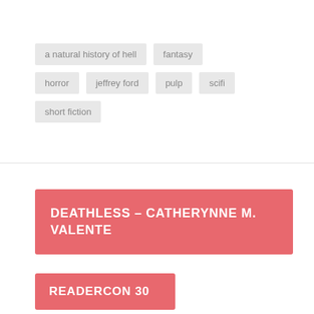a natural history of hell
fantasy
horror
jeffrey ford
pulp
scifi
short fiction
DEATHLESS – CATHERYNNE M. VALENTE
READERCON 30